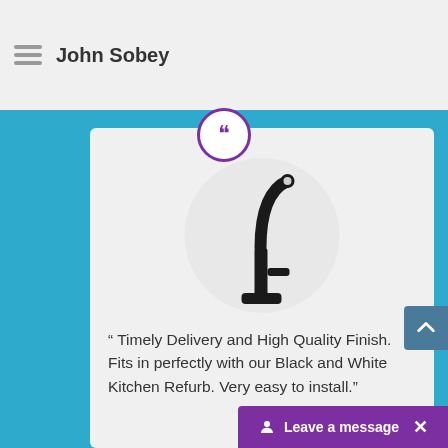John Sobey
[Figure (photo): Black kitchen faucet/tap product image inside a circular frame]
“ Timely Delivery and High Quality Finish. Fits in perfectly with our Black and White Kitchen Refurb. Very easy to install.”
BEECROFT, NSW 2119
Dec 10, 2021
Leave a message